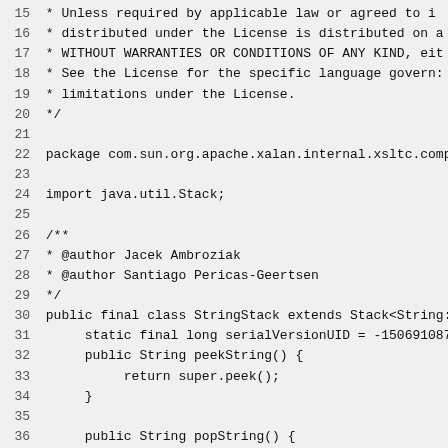15  * Unless required by applicable law or agreed to i
16  * distributed under the License is distributed on a
17  * WITHOUT WARRANTIES OR CONDITIONS OF ANY KIND, eit
18  * See the License for the specific language govern:
19  * limitations under the License.
20  */
21
22 package com.sun.org.apache.xalan.internal.xsltc.comp
23
24 import java.util.Stack;
25
26 /**
27  * @author Jacek Ambroziak
28  * @author Santiago Pericas-Geertsen
29  */
30 public final class StringStack extends Stack<String:
31      static final long serialVersionUID = -150691087!
32      public String peekString() {
33           return super.peek();
34      }
35
36      public String popString() {
37           return super.pop();
38      }
39
40      public String pushString(String val) {
41           return super.push(val);
42      }
43 }